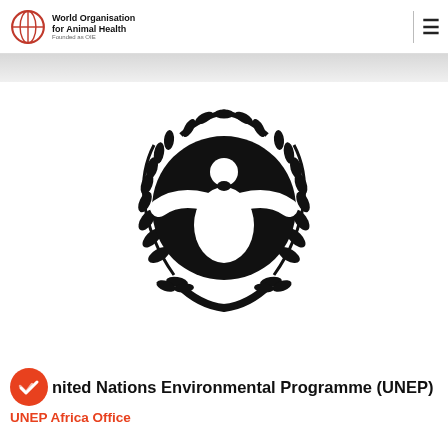World Organisation for Animal Health — Founded as OIE
[Figure (logo): UNEP (United Nations Environment Programme) logo — a stylized human figure with outstretched arms inside a globe, surrounded by olive/laurel branches, in black on white background]
United Nations Environmental Programme (UNEP)
UNEP Africa Office